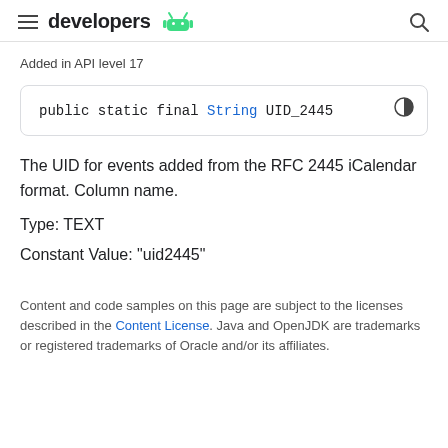developers (Android logo)
Added in API level 17
public static final String UID_2445
The UID for events added from the RFC 2445 iCalendar format. Column name.
Type: TEXT
Constant Value: "uid2445"
Content and code samples on this page are subject to the licenses described in the Content License. Java and OpenJDK are trademarks or registered trademarks of Oracle and/or its affiliates.